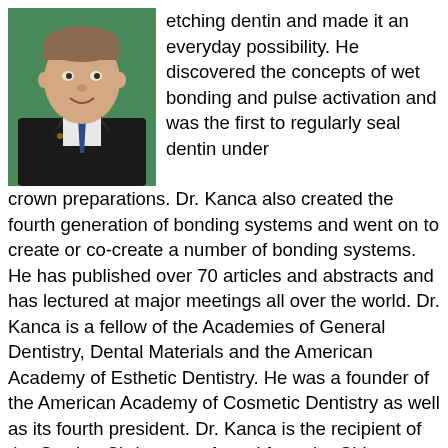[Figure (photo): Headshot photo of a man in a dark suit and blue tie, smiling, against a green background]
etching dentin and made it an everyday possibility. He discovered the concepts of wet bonding and pulse activation and was the first to regularly seal dentin under crown preparations. Dr. Kanca also created the fourth generation of bonding systems and went on to create or co-create a number of bonding systems. He has published over 70 articles and abstracts and has lectured at major meetings all over the world. Dr. Kanca is a fellow of the Academies of General Dentistry, Dental Materials and the American Academy of Esthetic Dentistry. He was a founder of the American Academy of Cosmetic Dentistry as well as its fourth president. Dr. Kanca is the recipient of the Gordon Christensen Award from the Chicago Dental Society, the Alfred Knab award from AGD, the Larry Pearson award from the CSDA and the William Gies award from the First District Dental